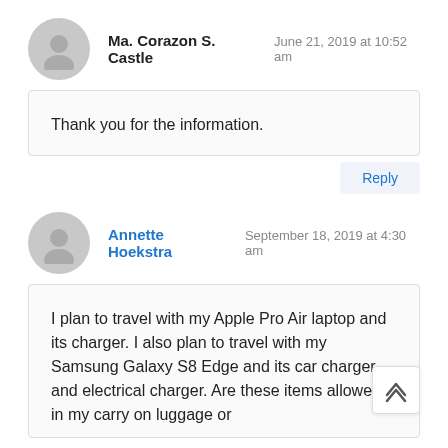Ma. Corazon S. Castle — June 21, 2019 at 10:52 am
Thank you for the information.
Reply
Annette Hoekstra — September 18, 2019 at 4:30 am
I plan to travel with my Apple Pro Air laptop and its charger. I also plan to travel with my Samsung Galaxy S8 Edge and its car charger and electrical charger. Are these items allowed in my carry on luggage or